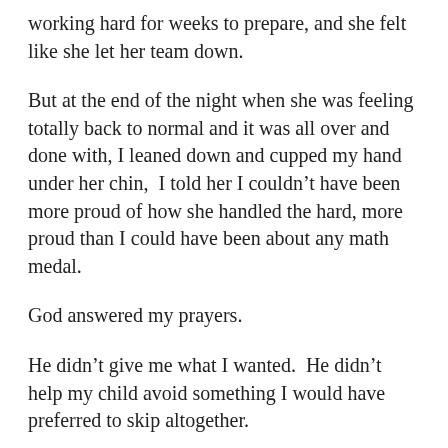working hard for weeks to prepare, and she felt like she let her team down.
But at the end of the night when she was feeling totally back to normal and it was all over and done with, I leaned down and cupped my hand under her chin,  I told her I couldn’t have been more proud of how she handled the hard, more proud than I could have been about any math medal.
God answered my prayers.
He didn’t give me what I wanted.  He didn’t help my child avoid something I would have preferred to skip altogether.
But He did a work in her heart, matured her right before my eyes, and taught her deeply meaningful lessons that matter far more in the end.